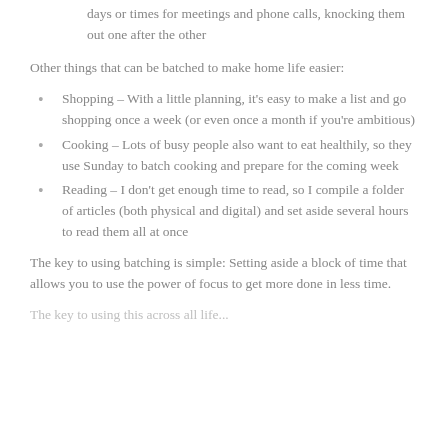days or times for meetings and phone calls, knocking them out one after the other
Other things that can be batched to make home life easier:
Shopping – With a little planning, it's easy to make a list and go shopping once a week (or even once a month if you're ambitious)
Cooking – Lots of busy people also want to eat healthily, so they use Sunday to batch cooking and prepare for the coming week
Reading – I don't get enough time to read, so I compile a folder of articles (both physical and digital) and set aside several hours to read them all at once
The key to using batching is simple: Setting aside a block of time that allows you to use the power of focus to get more done in less time.
The key to using this across all life...